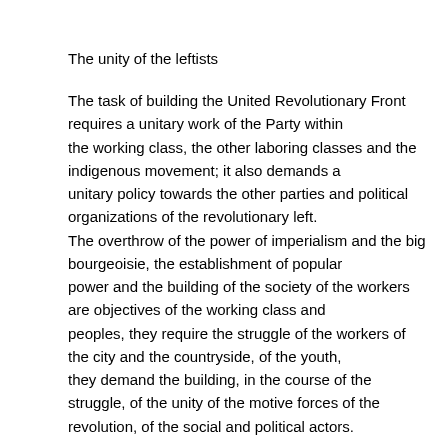The unity of the leftists
The task of building the United Revolutionary Front requires a unitary work of the Party within the working class, the other laboring classes and the indigenous movement; it also demands a unitary policy towards the other parties and political organizations of the revolutionary left. The overthrow of the power of imperialism and the big bourgeoisie, the establishment of popular power and the building of the society of the workers are objectives of the working class and peoples, they require the struggle of the workers of the city and the countryside, of the youth, they demand the building, in the course of the struggle, of the unity of the motive forces of the revolution, of the social and political actors.
11
The PCMLE has been taking up its responsibility in organizing